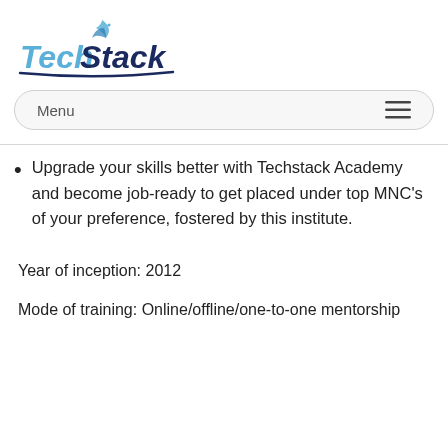[Figure (logo): TechStack Academy logo with stylized blue and dark blue text and a small leaf/bird icon]
Menu
Upgrade your skills better with Techstack Academy and become job-ready to get placed under top MNC's of your preference, fostered by this institute.
Year of inception: 2012
Mode of training: Online/offline/one-to-one mentorship